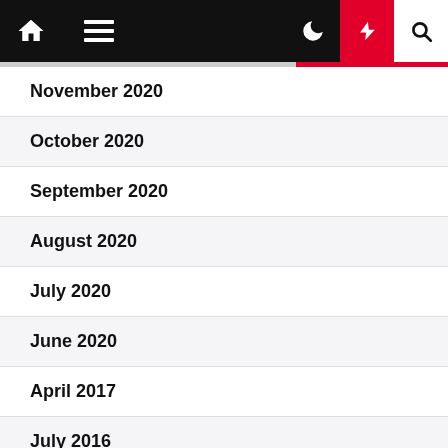Navigation bar with home, menu, moon, bolt, search icons
November 2020
October 2020
September 2020
August 2020
July 2020
June 2020
April 2017
July 2016
June 2016